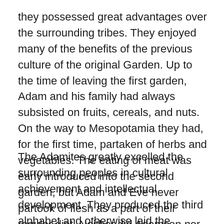they possessed great advantages over the surrounding tribes. They enjoyed many of the benefits of the previous culture of the original Garden. Up to the time of leaving the first garden, Adam and his family had always subsisted on fruits, cereals, and nuts. On the way to Mesopotamia they had, for the first time, partaken of herbs and vegetables. The eating of meat was early introduced into the second garden, but Adam and Eve never partook of flesh as a part of their regular diet. Neither did Adamson nor Eveson nor the other children of the first generation of the first garden become flesh eaters.
The Adamites greatly excelled the surrounding peoples in cultural achievement and intellectual development. They produced the third alphabet and otherwise laid the foundations for much that was the forerunner of modern